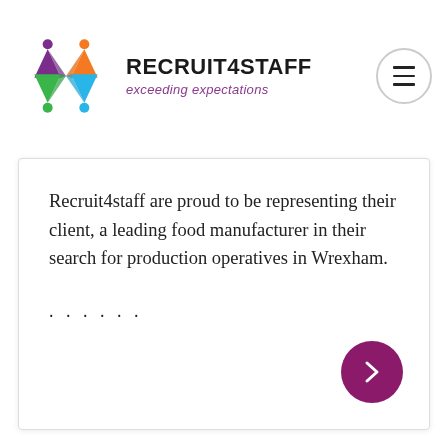[Figure (logo): Recruit4Staff logo with colorful star/people figure and brand name 'RECRUIT4STAFF exceeding expectations']
Recruit4staff are proud to be representing their client, a leading food manufacturer in their search for production operatives in Wrexham.
. . . . . .